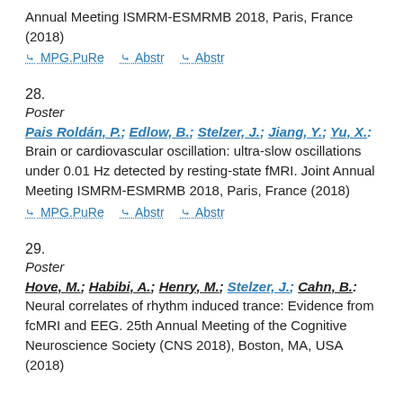Annual Meeting ISMRM-ESMRMB 2018, Paris, France (2018)
⤷ MPG.PuRe  ⤷ Abstr  ⤷ Abstr
28.
Poster
Pais Roldán, P.; Edlow, B.; Stelzer, J.; Jiang, Y.; Yu, X.: Brain or cardiovascular oscillation: ultra-slow oscillations under 0.01 Hz detected by resting-state fMRI. Joint Annual Meeting ISMRM-ESMRMB 2018, Paris, France (2018)
⤷ MPG.PuRe  ⤷ Abstr  ⤷ Abstr
29.
Poster
Hove, M.; Habibi, A.; Henry, M.; Stelzer, J.; Cahn, B.: Neural correlates of rhythm induced trance: Evidence from fcMRI and EEG. 25th Annual Meeting of the Cognitive Neuroscience Society (CNS 2018), Boston, MA, USA (2018)